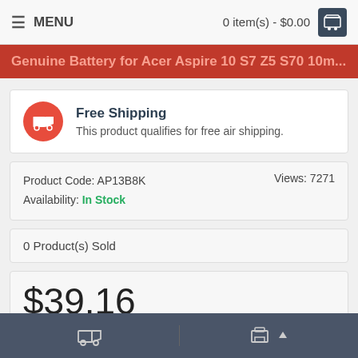MENU   0 item(s) - $0.00
Genuine Battery for Acer Aspire...
Free Shipping
This product qualifies for free air shipping.
Product Code: AP13B8K
Availability: In Stock
Views: 7271
0 Product(s) Sold
$39.16
Ex Tax: $39.16
- 1 +